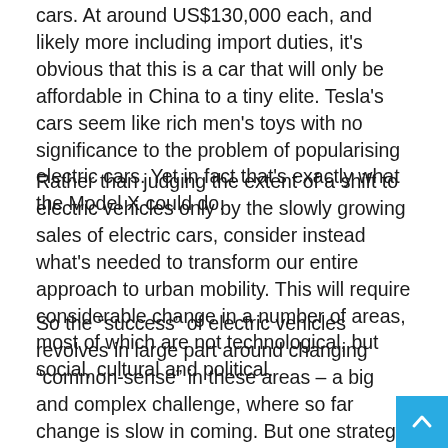cars. At around US$130,000 each, and likely more including import duties, it's obvious that this is a car that will only be affordable in China to a tiny elite. Tesla's cars seem like rich men's toys with no significance to the problem of popularising electric cars. Yet in fact that's exactly what the Model X could do.
Rather than judging the extent of a shift to electric vehicles only by the slowly growing sales of electric cars, consider instead what's needed to transform our entire approach to urban mobility. This will require considerable change in a number of areas, most of which are not technological, but social, cultural and political.
So the “success” of electric vehicles revolves in large part around changing “common-sense” in these areas – a big and complex challenge, where so far change is slow in coming. But one strategy that does seem to be effective in disrupting the dominance of the fossil-fuelled internal combustion engi... designing and selling glamorous, elite, branded electric cars